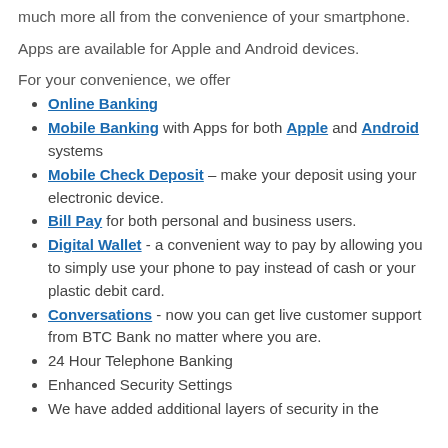much more all from the convenience of your smartphone.
Apps are available for Apple and Android devices.
For your convenience, we offer
Online Banking
Mobile Banking with Apps for both Apple and Android systems
Mobile Check Deposit – make your deposit using your electronic device.
Bill Pay for both personal and business users.
Digital Wallet - a convenient way to pay by allowing you to simply use your phone to pay instead of cash or your plastic debit card.
Conversations - now you can get live customer support from BTC Bank no matter where you are.
24 Hour Telephone Banking
Enhanced Security Settings
We have added additional layers of security in the